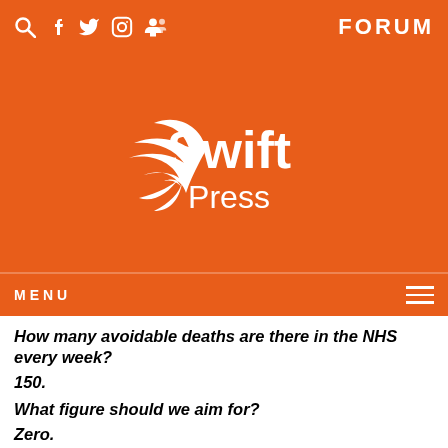Swift Press — FORUM
[Figure (logo): Swift Press logo: white swift bird silhouette with text 'Swift Press' on orange background]
MENU
How many avoidable deaths are there in the NHS every week?
150.
What figure should we aim for?
Zero.
The NHS is the pride of Britain, it the source of high l…